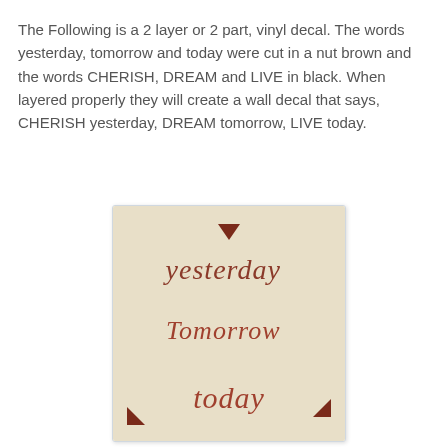The Following is a 2 layer or 2 part, vinyl decal. The words yesterday, tomorrow and today were cut in a nut brown and the words CHERISH, DREAM and LIVE in black. When layered properly they will create a wall decal that says, CHERISH yesterday, DREAM tomorrow, LIVE today.
[Figure (photo): Photo of a vinyl decal sheet showing cursive script words 'yesterday', 'Tomorrow', and 'today' in nut brown/reddish-brown color on a cream/beige background, with small decorative arrow markers at the corners and top.]